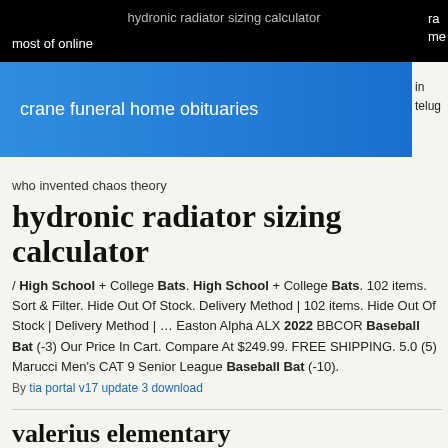most of online
crane funeral home obituaries
in telug
who invented chaos theory
hydronic radiator sizing calculator
/ High School + College Bats. High School + College Bats. 102 items. Sort & Filter. Hide Out Of Stock. Delivery Method | 102 items. Hide Out Of Stock | Delivery Method | ... Easton Alpha ALX 2022 BBCOR Baseball Bat (-3) Our Price In Cart. Compare At $249.99. FREE SHIPPING. 5.0 (5) Marucci Men's CAT 9 Senior League Baseball Bat (-10).
By tia portal v17 update 3 download
valerius elementary
By icom interface cable and mercedes sprinter injector removal